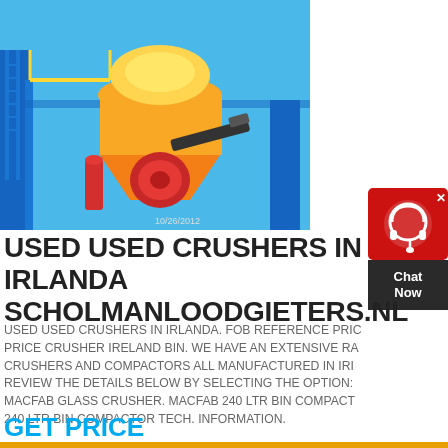[Figure (photo): Industrial cone crusher machine photographed outdoors, predominantly yellow and red/orange colors, mounted on a blue steel frame structure, against a clear blue sky. Timestamp 10/26/2012 visible at bottom.]
[Figure (other): Chat Now widget — red rounded rectangle with a white headset/chat icon, dark grey lower section with 'Chat Now' text in white, and a close X button at top right.]
USED USED CRUSHERS IN IRLANDA - SCHOLMANLOODGIETERS.NL
USED USED CRUSHERS IN IRLANDA. FOB REFERENCE PRICE CRUSHER IRELAND BIN. WE HAVE AN EXTENSIVE RANGE OF CRUSHERS AND COMPACTORS ALL MANUFACTURED IN IRELAND. REVIEW THE DETAILS BELOW BY SELECTING THE OPTIONS. MACFAB GLASS CRUSHER. MACFAB 240 LTR BIN COMPACTOR TECH. 240 LTR BIN COMPACTOR TECH. INFORMATION.
GET PRICE